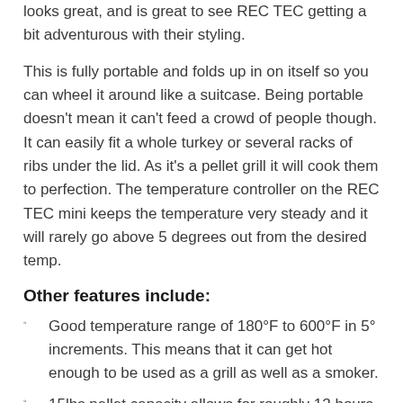looks great, and is great to see REC TEC getting a bit adventurous with their styling.
This is fully portable and folds up in on itself so you can wheel it around like a suitcase. Being portable doesn't mean it can't feed a crowd of people though. It can easily fit a whole turkey or several racks of ribs under the lid. As it's a pellet grill it will cook them to perfection. The temperature controller on the REC TEC mini keeps the temperature very steady and it will rarely go above 5 degrees out from the desired temp.
Other features include:
Good temperature range of 180°F to 600°F in 5° increments. This means that it can get hot enough to be used as a grill as well as a smoker.
15lbs pellet capacity allows for roughly 12 hours of